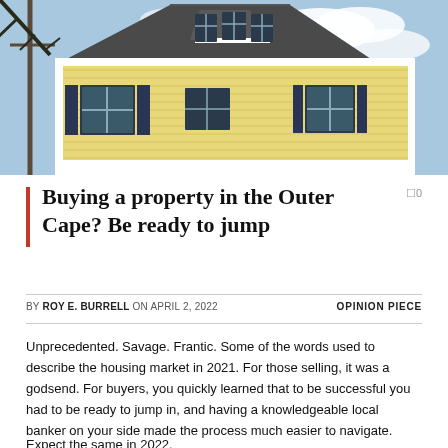[Figure (photo): Exterior of a yellow New England-style house with white trim, dark shuttered windows, and a cloudy blue sky background. Bare tree branch visible at top left.]
Buying a property in the Outer Cape? Be ready to jump
BY ROY E. BURRELL ON APRIL 2, 2022   OPINION PIECE
Unprecedented. Savage. Frantic. Some of the words used to describe the housing market in 2021. For those selling, it was a godsend. For buyers, you quickly learned that to be successful you had to be ready to jump in, and having a knowledgeable local banker on your side made the process much easier to navigate.
Expect the same in 2022.